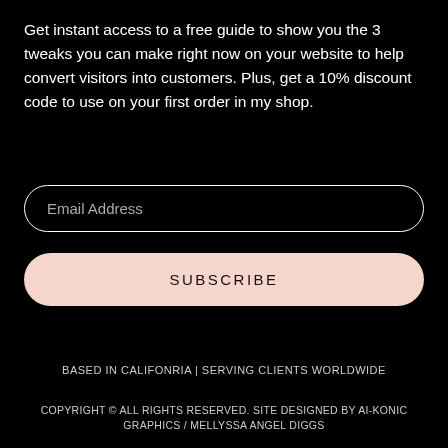Get instant access to a free guide to show you the 3 tweaks you can make right now on your website to help convert visitors into customers. Plus, get a 10% discount code to use on your first order in my shop.
Email Address
SUBSCRIBE
BASED IN CALIFONRIA | SERVING CLIENTS WORLDWIDE
COPYRIGHT © ALL RIGHTS RESERVED. SITE DESIGNED BY AI-KONIC GRAPHICS / MELLYSSA ANGEL DIGGS